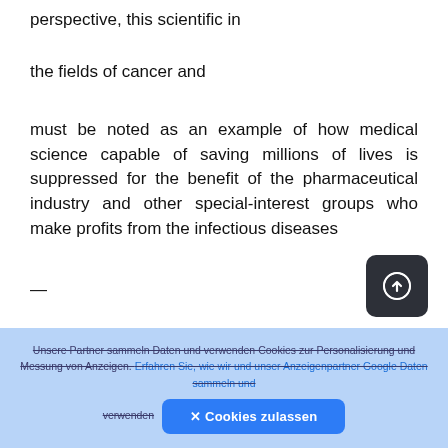perspective, this scientific in
the fields of cancer and
must be noted as an example of how medical science capable of saving millions of lives is suppressed for the benefit of the pharmaceutical industry and other special-interest groups who make profits from the infectious diseases
—
[Figure (other): Dark rounded square button with a circle-arrow (upload/link) icon in white]
—
Unsere Partner sammeln Daten und verwenden Cookies zur Personalisierung und Messung von Anzeigen. Erfahren Sie, wie wir und unser Anzeigenpartner Google Daten sammeln und verwenden   ✕ Cookies zulassen